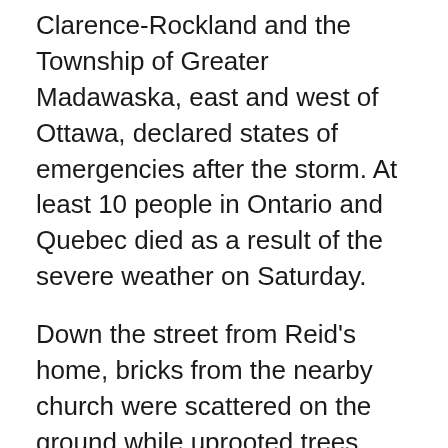Clarence-Rockland and the Township of Greater Madawaska, east and west of Ottawa, declared states of emergencies after the storm. At least 10 people in Ontario and Quebec died as a result of the severe weather on Saturday.
Down the street from Reid's home, bricks from the nearby church were scattered on the ground while uprooted trees were seen all through the area.
The area around Uxbridge's historic train station was particularly hard hit. One home in that neighbourhood that was taped off and appeared to have been ripped from its foundation. Another home's backyard was a sea of downed trees on Tuesday and a team worked to clean